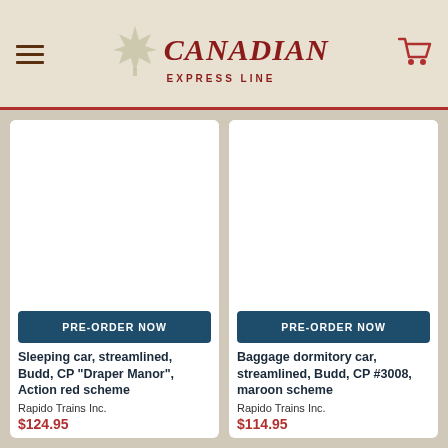Canadian Express Line — navigation header with logo and cart icon
[Figure (screenshot): Product image placeholder (white background) for Sleeping car, streamlined, Budd, CP 'Draper Manor', Action red scheme]
PRE-ORDER NOW
Sleeping car, streamlined, Budd, CP "Draper Manor", Action red scheme
Rapido Trains Inc.
$124.95
[Figure (screenshot): Product image placeholder (white background) for Baggage dormitory car, streamlined, Budd, CP #3008, maroon scheme]
PRE-ORDER NOW
Baggage dormitory car, streamlined, Budd, CP #3008, maroon scheme
Rapido Trains Inc.
$114.95